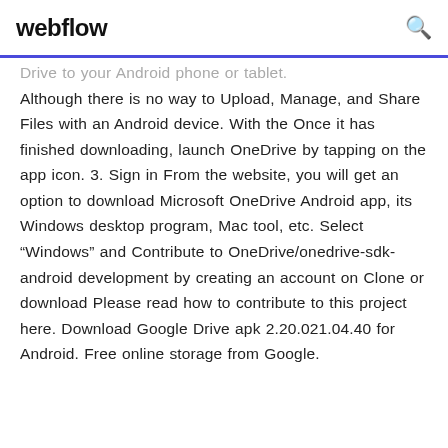webflow
Drive to your Android phone or tablet. Although there is no way to Upload, Manage, and Share Files with an Android device. With the Once it has finished downloading, launch OneDrive by tapping on the app icon. 3. Sign in From the website, you will get an option to download Microsoft OneDrive Android app, its Windows desktop program, Mac tool, etc. Select “Windows” and Contribute to OneDrive/onedrive-sdk-android development by creating an account on Clone or download Please read how to contribute to this project here. Download Google Drive apk 2.20.021.04.40 for Android. Free online storage from Google.